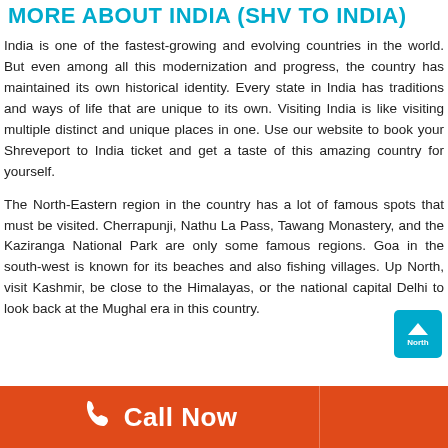MORE ABOUT INDIA (SHV TO INDIA)
India is one of the fastest-growing and evolving countries in the world. But even among all this modernization and progress, the country has maintained its own historical identity. Every state in India has traditions and ways of life that are unique to its own. Visiting India is like visiting multiple distinct and unique places in one. Use our website to book your Shreveport to India ticket and get a taste of this amazing country for yourself.
The North-Eastern region in the country has a lot of famous spots that must be visited. Cherrapunji, Nathu La Pass, Tawang Monastery, and the Kaziranga National Park are only some famous regions. Goa in the south-west is known for its beaches and also fishing villages. Up North, visit Kashmir, be close to the Himalayas, or the national capital Delhi to look back at the Mughal era in this country.
Call Now